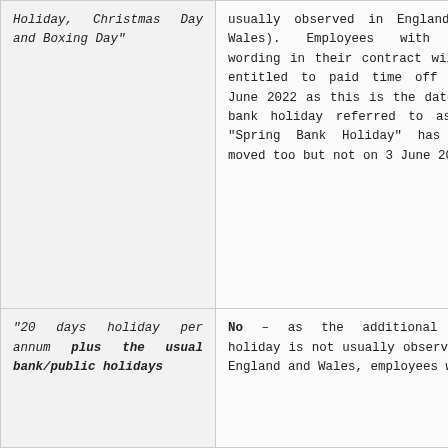| Holiday, Christmas Day and Boxing Day" | usually observed in England and Wales). Employees with such wording in their contract will be entitled to paid time off on 2 June 2022 as this is the date the bank holiday referred to as the "Spring Bank Holiday" has been moved too but not on 3 June 2022. |
| "20 days holiday per annum plus the usual bank/public holidays | No – as the additional bank holiday is not usually observed in England and Wales, employees would not be entitled to |